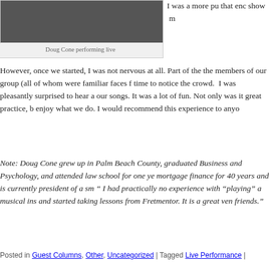[Figure (photo): Doug Cone performing live - dark performance photo]
Doug Cone performing live
I was a more pu that enc show m
However, once we started, I was not nervous at all. Part of the the members of our group (all of whom were familiar faces f time to notice the crowd. I was pleasantly surprised to hear a our songs. It was a lot of fun. Not only was it great practice, b enjoy what we do. I would recommend this experience to anyo
Note: Doug Cone grew up in Palm Beach County, graduated Business and Psychology, and attended law school for one ye mortgage finance for 40 years and is currently president of a s “ I had practically no experience with “playing” a musical ins and started taking lessons from Fretmentor. It is a great ven friends.”
Posted in Guest Columns, Other, Uncategorized | Tagged Live Performance |